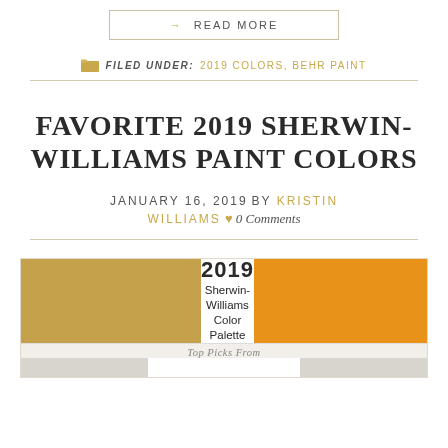→ READ MORE
FILED UNDER: 2019 COLORS, BEHR PAINT
FAVORITE 2019 SHERWIN-WILLIAMS PAINT COLORS
JANUARY 16, 2019 BY KRISTIN WILLIAMS ♥ 0 Comments
[Figure (illustration): 2019 Sherwin-Williams Color Palette preview image showing gold and orange color swatches with center text reading '2019 Sherwin-Williams Color Palette' and a lower section labeled 'Top Picks From']